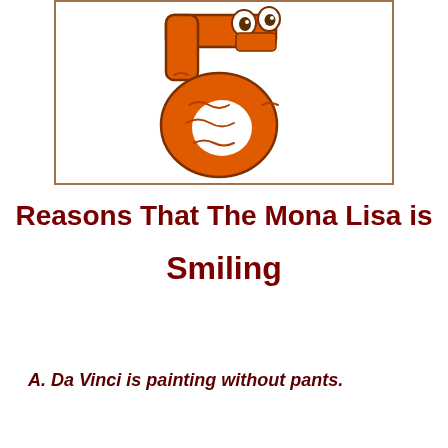[Figure (illustration): A cartoon orange number 5 character with eyes and textured swirl patterns on a white background with a brown border.]
Reasons That The Mona Lisa is Smiling
A. Da Vinci is painting without pants.